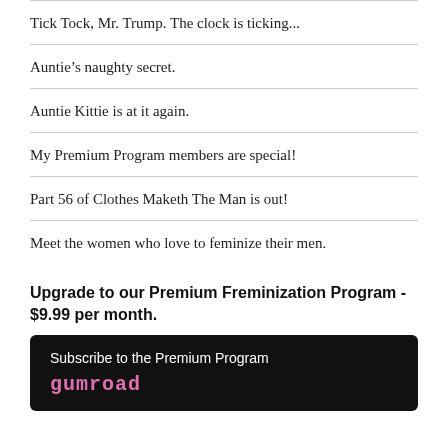Tick Tock, Mr. Trump. The clock is ticking...
Auntie’s naughty secret.
Auntie Kittie is at it again.
My Premium Program members are special!
Part 56 of Clothes Maketh The Man is out!
Meet the women who love to feminize their men.
Upgrade to our Premium Freminization Program - $9.99 per month.
Subscribe to the Premium Program
Gumroad